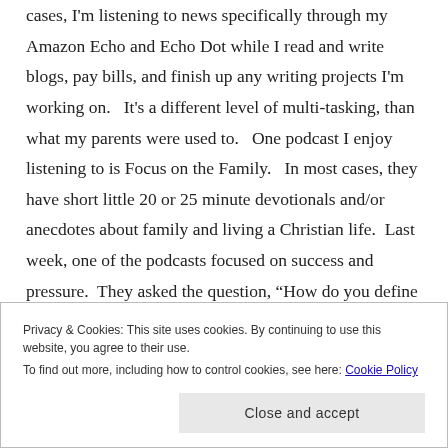cases, I'm listening to news specifically through my Amazon Echo and Echo Dot while I read and write blogs, pay bills, and finish up any writing projects I'm working on.   It's a different level of multi-tasking, than what my parents were used to.   One podcast I enjoy listening to is Focus on the Family.   In most cases, they have short little 20 or 25 minute devotionals and/or anecdotes about family and living a Christian life.  Last week, one of the podcasts focused on success and pressure.  They asked the question, “How do you define success?”   And obviously, in today’s society success is defined in a more
Privacy & Cookies: This site uses cookies. By continuing to use this website, you agree to their use.
To find out more, including how to control cookies, see here: Cookie Policy